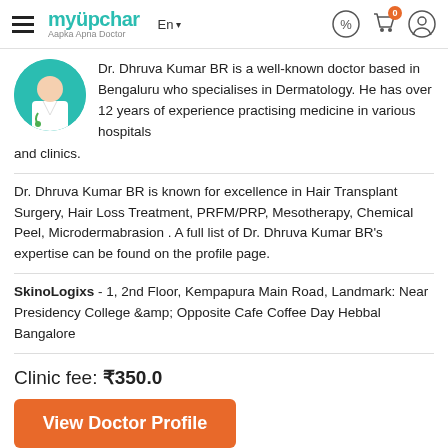myUpchar - Aapka Apna Doctor | En | navigation icons
[Figure (illustration): Doctor avatar illustration - person in white coat with stethoscope on teal/green circular background]
Dr. Dhruva Kumar BR is a well-known doctor based in Bengaluru who specialises in Dermatology. He has over 12 years of experience practising medicine in various hospitals and clinics.
Dr. Dhruva Kumar BR is known for excellence in Hair Transplant Surgery, Hair Loss Treatment, PRFM/PRP, Mesotherapy, Chemical Peel, Microdermabrasion . A full list of Dr. Dhruva Kumar BR's expertise can be found on the profile page.
SkinoLogixs - 1, 2nd Floor, Kempapura Main Road, Landmark: Near Presidency College &amp; Opposite Cafe Coffee Day Hebbal Bangalore
Clinic fee: ₹350.0
View Doctor Profile
[Figure (photo): Photo of Dr. H.N. Reddy - person with mask on teal circular background]
Dr. H.N. Reddy